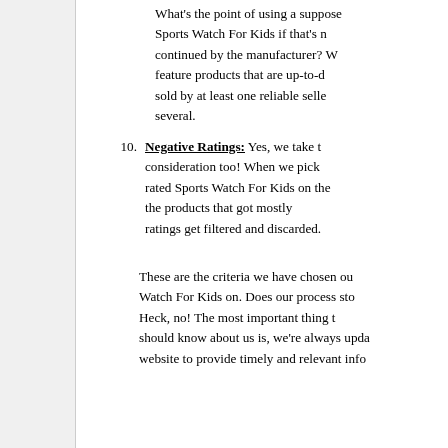What's the point of using a supposed Sports Watch For Kids if that's no continued by the manufacturer? W feature products that are up-to-d sold by at least one reliable selle several.
10. Negative Ratings: Yes, we take t consideration too! When we pick rated Sports Watch For Kids on the the products that got mostly ratings get filtered and discarded.
These are the criteria we have chosen ou Watch For Kids on. Does our process sto Heck, no! The most important thing t should know about us is, we're always upda website to provide timely and relevant info